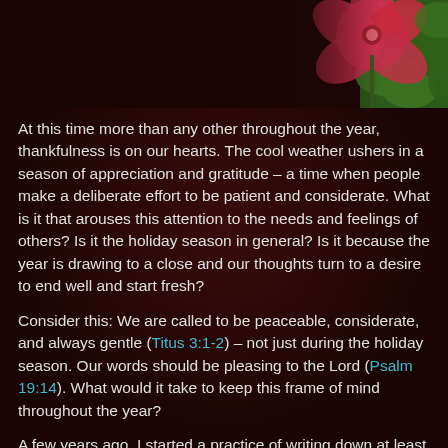[Figure (photo): A pink/red flower (appears to be a hibiscus or similar) surrounded by green foliage, photographed outdoors. The image is cropped at the top of the page showing only the upper portion.]
At this time more than any other throughout the year, thankfulness is on our hearts. The cool weather ushers in a season of appreciation and gratitude – a time when people make a deliberate effort to be patient and considerate. What is it that arouses this attention to the needs and feelings of others? Is it the holiday season in general? Is it because the year is drawing to a close and our thoughts turn to a desire to end well and start fresh?
Consider this: We are called to be peaceable, considerate, and always gentle (Titus 3:1-2) – not just during the holiday season. Our words should be pleasing to the Lord (Psalm 19:14). What would it take to keep this frame of mind throughout the year?
A few years ago, I started a practice of writing down at least three things I am thankful for every day. When I first started, I had lofty goals of writing eloquent, spiritual things like salvation and grace and forgiveness. Yes, I am thankful for